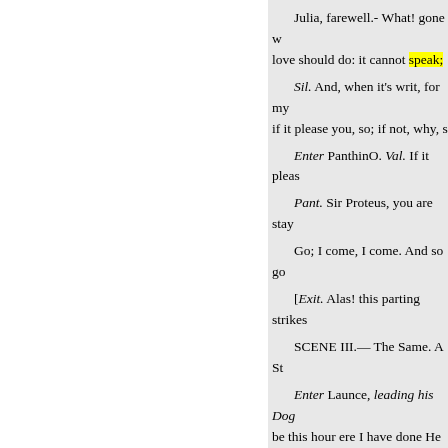Julia, farewell.- What! gone w love should do: it cannot speak;
Sil. And, when it's writ, for my if it please you, so; if not, why, s
Enter PanthinO. Val. If it pleas
Pant. Sir Proteus, you are stay
Go; I come, I come. And so go
[Exit. Alas! this parting strikes
SCENE III.— The Same. A St
Enter Launce, leading his Dog be this hour ere I have done He b
weeping : all the kind of the Lau I have received my proportion, li son, and am going with sir Prote
rial's court. I think Crab, my dog
And yet,